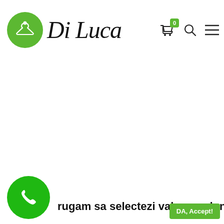[Figure (logo): Di Luca brand logo with green circle icon on the left and italic cursive text 'Di Luca' on the right]
[Figure (infographic): Header navigation icons: shopping bag with green badge showing '0', search magnifier icon, and hamburger menu icon]
Te rugam sa selectezi valoarea donata
[Figure (infographic): Green circular phone/call button icon at bottom left]
DA, Accept!